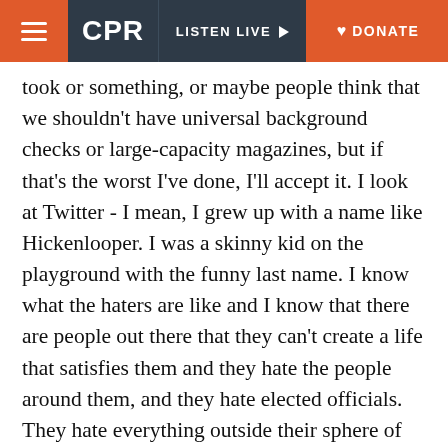CPR | LISTEN LIVE | DONATE
took or something, or maybe people think that we shouldn’t have universal background checks or large-capacity magazines, but if that’s the worst I’ve done, I’ll accept it. I look at Twitter - I mean, I grew up with a name like Hickenlooper. I was a skinny kid on the playground with the funny last name. I know what the haters are like and I know that there are people out there that they can’t create a life that satisfies them and they hate the people around them, and they hate elected officials. They hate everything outside their sphere of influence and oftentimes, they hate their own family. You can’t do anything about it. They’ve always - haters have always been there and haters are going to hate. You just